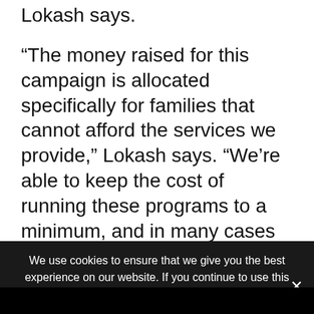Lokash says.
“The money raised for this campaign is allocated specifically for families that cannot afford the services we provide,” Lokash says. “We’re able to keep the cost of running these programs to a minimum, and in many cases to a zero amount.”
For businesses and individuals who want to donate $1,000 or more, the YMCA offers the Chairman’s Roundtable designation. Donors at this level are invited to special programs throughout the year, and an individual
We use cookies to ensure that we give you the best experience on our website. If you continue to use this site we will assume that you are happy with it.